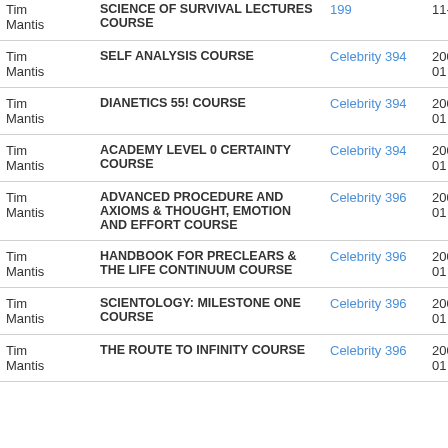| Person | Course | Publication | Date |
| --- | --- | --- | --- |
| Tim Mantis | SCIENCE OF SURVIVAL LECTURES COURSE | 199 | 11-01 |
| Tim Mantis | SELF ANALYSIS COURSE | Celebrity 394 | 2009-02-01 |
| Tim Mantis | DIANETICS 55! COURSE | Celebrity 394 | 2009-02-01 |
| Tim Mantis | ACADEMY LEVEL 0 CERTAINTY COURSE | Celebrity 394 | 2009-02-01 |
| Tim Mantis | ADVANCED PROCEDURE AND AXIOMS & THOUGHT, EMOTION AND EFFORT COURSE | Celebrity 396 | 2009-10-01 |
| Tim Mantis | HANDBOOK FOR PRECLEARS & THE LIFE CONTINUUM COURSE | Celebrity 396 | 2009-10-01 |
| Tim Mantis | SCIENTOLOGY: MILESTONE ONE COURSE | Celebrity 396 | 2009-10-01 |
| Tim Mantis | THE ROUTE TO INFINITY COURSE | Celebrity 396 | 2009-10-01 |